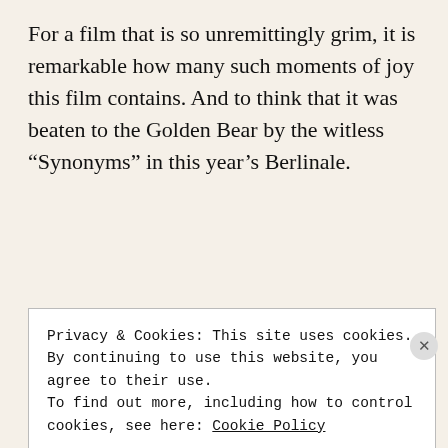For a film that is so unremittingly grim, it is remarkable how many such moments of joy this film contains. And to think that it was beaten to the Golden Bear by the witless “Synonyms” in this year’s Berlinale.
Second viewing – July 2020
First, what should be self-evident. This is an exceptional film which has scored over 90%...
Privacy & Cookies: This site uses cookies. By continuing to use this website, you agree to their use.
To find out more, including how to control cookies, see here: Cookie Policy